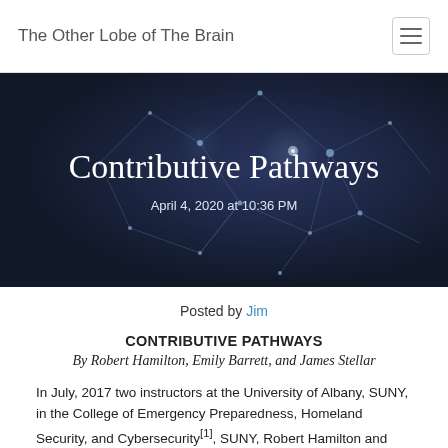The Other Lobe of The Brain
[Figure (illustration): Dark navy blue hero banner with neural network imagery (glowing neuron/synapse illustration), containing the article title 'Contributive Pathways' and date 'April 4, 2020 at 10:36 PM']
Contributive Pathways
April 4, 2020 at 10:36 PM
Posted by Jim
CONTRIBUTIVE PATHWAYS
By Robert Hamilton, Emily Barrett, and James Stellar
In July, 2017 two instructors at the University of Albany, SUNY, in the College of Emergency Preparedness, Homeland Security, and Cybersecurity[1], SUNY, Robert Hamilton and